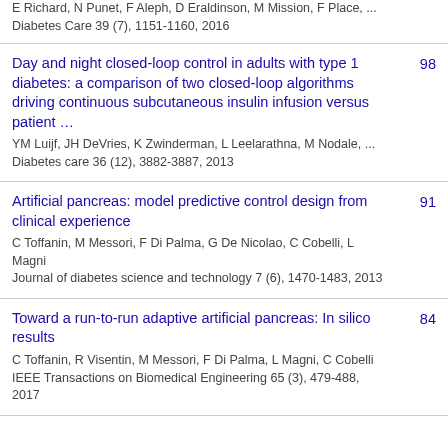E Richard, N Punet, F Aleph, D Eraldinson, M Mission, F Place, ...
Diabetes Care 39 (7), 1151-1160, 2016
Day and night closed-loop control in adults with type 1 diabetes: a comparison of two closed-loop algorithms driving continuous subcutaneous insulin infusion versus patient …
YM Luijf, JH DeVries, K Zwinderman, L Leelarathna, M Nodale, ...
Diabetes care 36 (12), 3882-3887, 2013
98
Artificial pancreas: model predictive control design from clinical experience
C Toffanin, M Messori, F Di Palma, G De Nicolao, C Cobelli, L Magni
Journal of diabetes science and technology 7 (6), 1470-1483, 2013
91
Toward a run-to-run adaptive artificial pancreas: In silico results
C Toffanin, R Visentin, M Messori, F Di Palma, L Magni, C Cobelli
IEEE Transactions on Biomedical Engineering 65 (3), 479-488, 2017
84